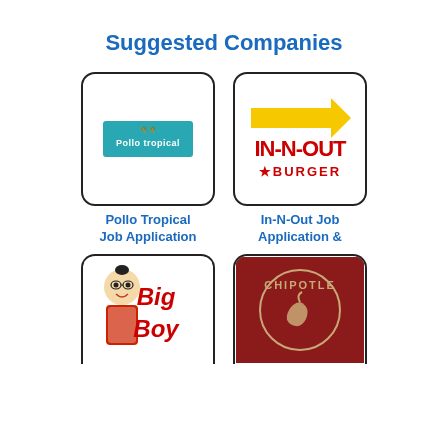Suggested Companies
[Figure (logo): Pollo Tropical logo — teal rectangle with white text and small palm tree icon]
[Figure (logo): In-N-Out Burger logo — red and yellow text with arrow]
Pollo Tropical Job Application
In-N-Out Job Application &
[Figure (logo): Big Boy restaurant logo — cartoon boy mascot with red text 'Big Boy']
[Figure (logo): Chipotle logo — dark red background with circular Chipotle wordmark]